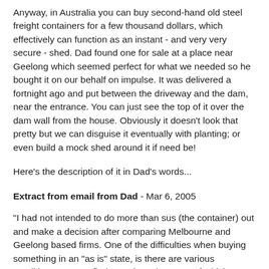Anyway, in Australia you can buy second-hand old steel freight containers for a few thousand dollars, which effectively can function as an instant - and very very secure - shed. Dad found one for sale at a place near Geelong which seemed perfect for what we needed so he bought it on our behalf on impulse. It was delivered a fortnight ago and put between the driveway and the dam, near the entrance. You can just see the top of it over the dam wall from the house. Obviously it doesn't look that pretty but we can disguise it eventually with planting; or even build a mock shed around it if need be!
Here's the description of it in Dad's words...
Extract from email from Dad - Mar 6, 2005
"I had not intended to do more than sus (the container) out and make a decision after comparing Melbourne and Geelong based firms. One of the difficulties when buying something in an "as is" state, is there are various conditions you can find containers in, some of which render them to a short life in the open unless roofed. All the firms suggest